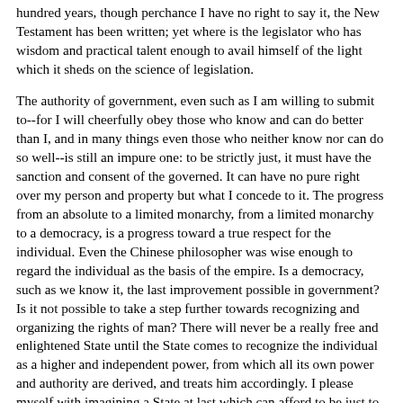hundred years, though perchance I have no right to say it, the New Testament has been written; yet where is the legislator who has wisdom and practical talent enough to avail himself of the light which it sheds on the science of legislation.
The authority of government, even such as I am willing to submit to--for I will cheerfully obey those who know and can do better than I, and in many things even those who neither know nor can do so well--is still an impure one: to be strictly just, it must have the sanction and consent of the governed. It can have no pure right over my person and property but what I concede to it. The progress from an absolute to a limited monarchy, from a limited monarchy to a democracy, is a progress toward a true respect for the individual. Even the Chinese philosopher was wise enough to regard the individual as the basis of the empire. Is a democracy, such as we know it, the last improvement possible in government? Is it not possible to take a step further towards recognizing and organizing the rights of man? There will never be a really free and enlightened State until the State comes to recognize the individual as a higher and independent power, from which all its own power and authority are derived, and treats him accordingly. I please myself with imagining a State at last which can afford to be just to all men, and to treat the individual with respect as a neighbor; which even would not think it inconsistent with its own repose if a few were to live aloof from it, not meddling with it, nor embraced by it, who fulfilled all the duties of neighbors and fellow men. A